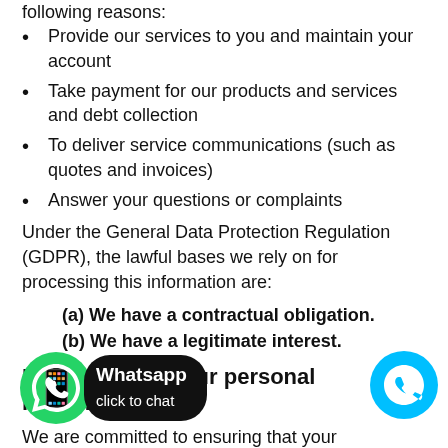following reasons:
Provide our services to you and maintain your account
Take payment for our products and services and debt collection
To deliver service communications (such as quotes and invoices)
Answer your questions or complaints
Under the General Data Protection Regulation (GDPR), the lawful bases we rely on for processing this information are:
(a) We have a contractual obligation.
(b) We have a legitimate interest.
How we store your personal information
We are committed to ensuring that your information is secure. In order to prevent unauthorised access or disclosure we have in place suitable physical, electronic and